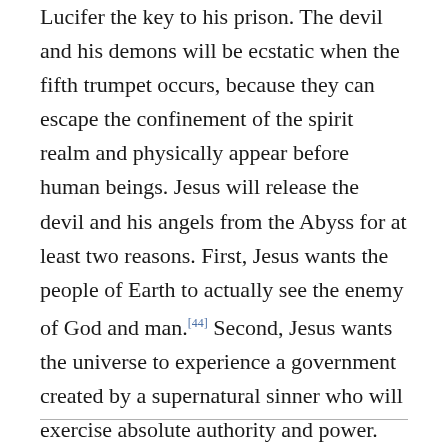Lucifer the key to his prison. The devil and his demons will be ecstatic when the fifth trumpet occurs, because they can escape the confinement of the spirit realm and physically appear before human beings. Jesus will release the devil and his angels from the Abyss for at least two reasons. First, Jesus wants the people of Earth to actually see the enemy of God and man.[44] Second, Jesus wants the universe to experience a government created by a supernatural sinner who will exercise absolute authority and power. The enormous differences between Lucifer's government and God's government will be studied throughout eternity.